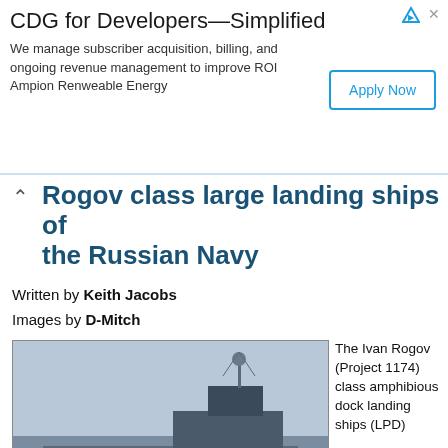[Figure (screenshot): Advertisement banner: CDG for Developers—Simplified with Apply Now button]
form of the Ivan Rogov class large landing ships of the Russian Navy
Written by Keith Jacobs
Images by D-Mitch
[Figure (photo): Photograph of Mitrofan Moskalenko, a large amphibious landing ship numbered 020, the third vessel in the Ivan Rogov class, shown docked in harbor]
Mitrofan Moskalenko, the third vessel in the Ivan Rogov class
The Ivan Rogov (Project 1174) class amphibious dock landing ships (LPD)